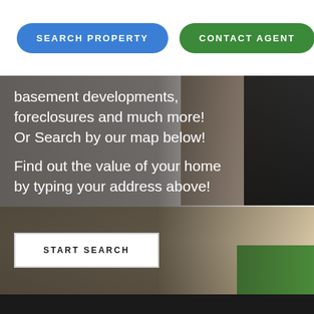SEARCH PROPERTY
CONTACT AGENT
basement developments, foreclosures and much more! Or Search by our map below! Find out the value of your home by typing your address above!
START SEARCH
RENAISSANCE
COMMUNITIES